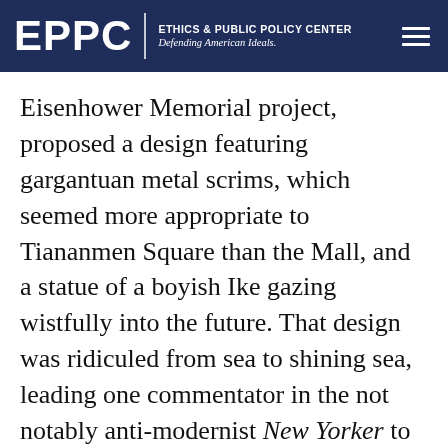EPPC | ETHICS & PUBLIC POLICY CENTER Defending American Ideals.
Eisenhower Memorial project, proposed a design featuring gargantuan metal scrims, which seemed more appropriate to Tiananmen Square than the Mall, and a statue of a boyish Ike gazing wistfully into the future. That design was ridiculed from sea to shining sea, leading one commentator in the not notably anti-modernist New Yorker to observe that “in true bipartisan spirit, almost everyone hates it,” while an oversight investigation by the House Natural Resources Committee called the entire project a “five-star folly” in which the GSA violated its own competition rules.